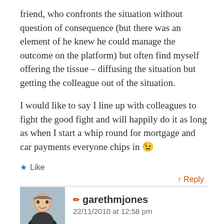friend, who confronts the situation without question of consequence (but there was an element of he knew he could manage the outcome on the platform) but often find myself offering the tissue – diffusing the situation but getting the colleague out of the situation.
I would like to say I line up with colleagues to fight the good fight and will happily do it as long as when I start a whip round for mortgage and car payments everyone chips in 😉
★ Like
↑ Reply
garethmjones
22/11/2010 at 12:58 pm